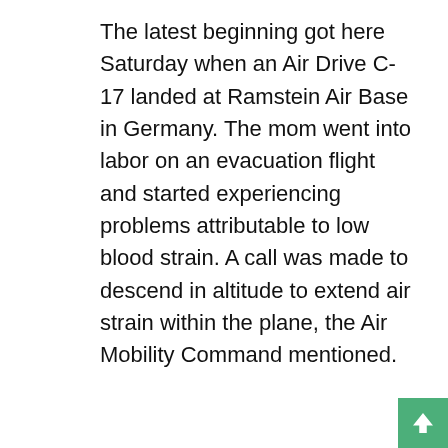The latest beginning got here Saturday when an Air Drive C-17 landed at Ramstein Air Base in Germany. The mom went into labor on an evacuation flight and started experiencing problems attributable to low blood strain. A call was made to descend in altitude to extend air strain within the plane, the Air Mobility Command mentioned.
[Figure (other): Broken image placeholder showing 'adsclassified.net' text in green]
PENTAGON MAY ASK BIDEN TO STAY IN AFGHANISTAN PAST AUG 31, BUT WON'T RETAKE BAGRAM TO SPEED